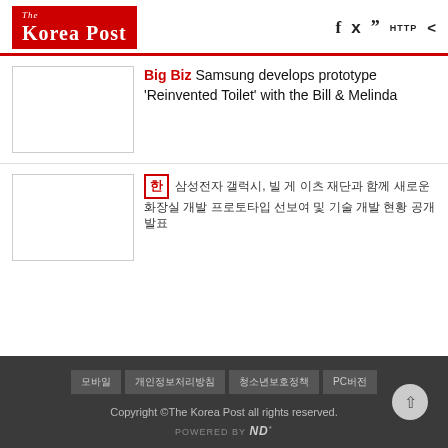The Korea Post
Big Biz Samsung develops prototype 'Reinvented Toilet' with the Bill & Melinda
[Figure (photo): Thumbnail image placeholder for Samsung Reinvented Toilet article]
삼성전자 갤럭시, 빌 게 이츠 재단과 함께 새로운 화장실 개발 프로토타입 선보여
[Figure (photo): Thumbnail image placeholder for Korean article]
Copyright ©The Korea Post all rights reserved. POWERED BY ND